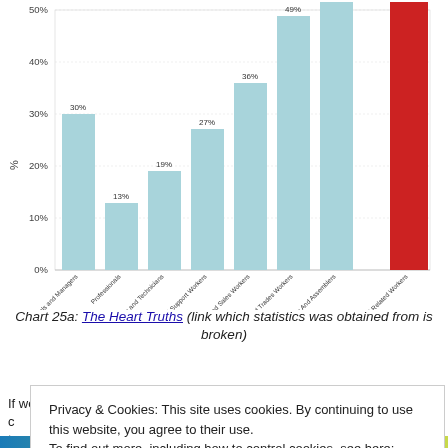[Figure (bar-chart): ]
Chart 25a: The Heart Truths (link which statistics was obtained from is broken)
If we look at how much the low-income earners, such as what the c... t...